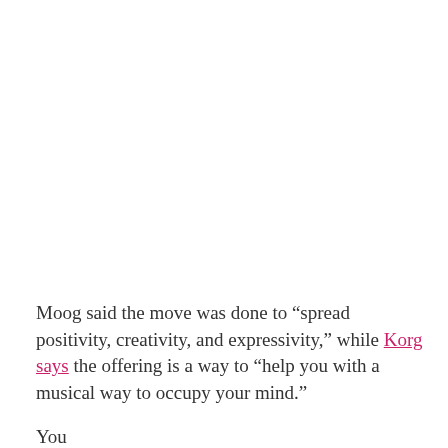Moog said the move was done to “spread positivity, creativity, and expressivity,” while Korg says the offering is a way to “help you with a musical way to occupy your mind.”
You...